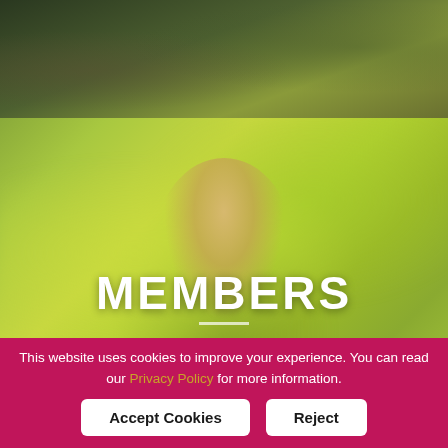[Figure (photo): Garden scene with green plants and foliage in the top section]
[Figure (photo): Blurred outdoor scene with yellow-green background and a smiling blonde woman in the foreground, with MEMBERS text overlay]
MEMBERS
This website uses cookies to improve your experience. You can read our Privacy Policy for more information.
Accept Cookies
Reject